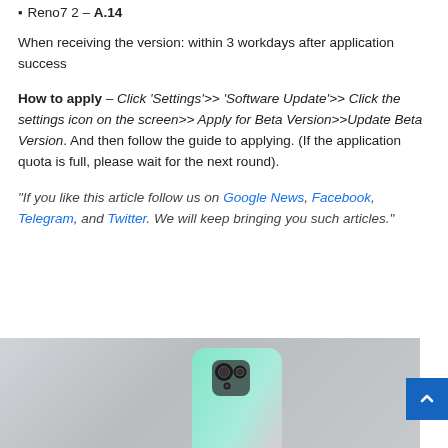Reno7 2 – A.14
When receiving the version: within 3 workdays after application success
How to apply – Click 'Settings'>> 'Software Update'>> Click the settings icon on the screen>> Apply for Beta Version>>Update Beta Version. And then follow the guide to applying. (If the application quota is full, please wait for the next round).
“If you like this article follow us on Google News, Facebook, Telegram, and Twitter. We will keep bringing you such articles.”
[Figure (photo): A mint/teal colored smartphone shown partially at the bottom of the page against a light grey background]